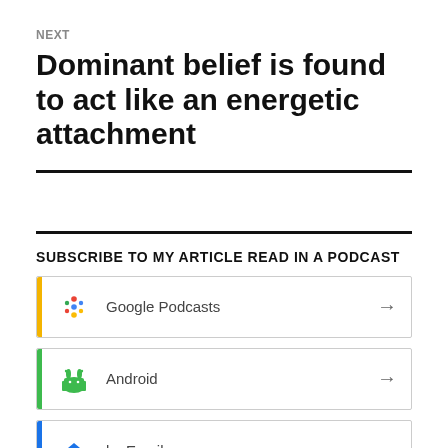NEXT
Dominant belief is found to act like an energetic attachment
SUBSCRIBE TO MY ARTICLE READ IN A PODCAST
Google Podcasts
Android
by Email